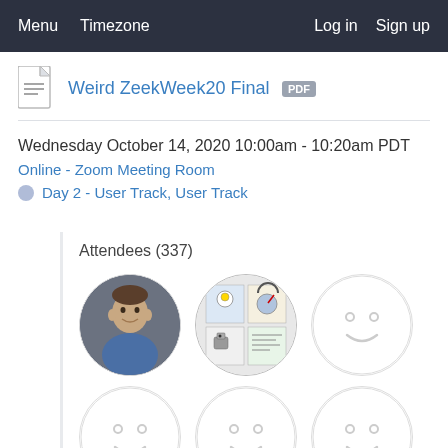Menu   Timezone   Log in   Sign up
Weird ZeekWeek20 Final PDF
Wednesday October 14, 2020 10:00am - 10:20am PDT
Online - Zoom Meeting Room
Day 2 - User Track, User Track
Attendees (337)
[Figure (photo): Row of three attendee avatars: a man with short hair smiling, a comic/cartoon collage image, and a default smiley face placeholder]
[Figure (photo): Row of three default smiley face placeholder avatars]